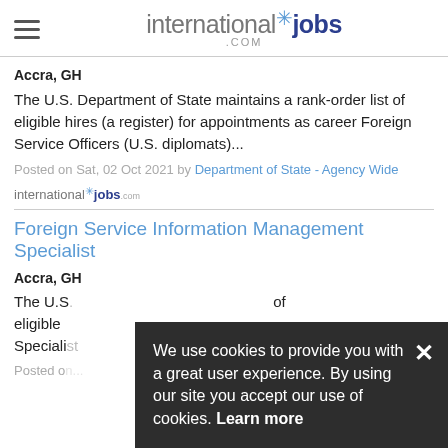internationaljobs.com
Accra, GH
The U.S. Department of State maintains a rank-order list of eligible hires (a register) for appointments as career Foreign Service Officers (U.S. diplomats)...
Posted on Sat, 02 Oct 2021 by Department of State - Agency Wide
[Figure (logo): internationaljobs.com small logo]
Foreign Service Information Management Specialist
Accra, GH
The U.S. ...of eligible ...Specialist
Posted o...
[Figure (screenshot): Cookie consent banner overlay: 'We use cookies to provide you with a great user experience. By using our site you accept our use of cookies. Learn more' with a close X button]